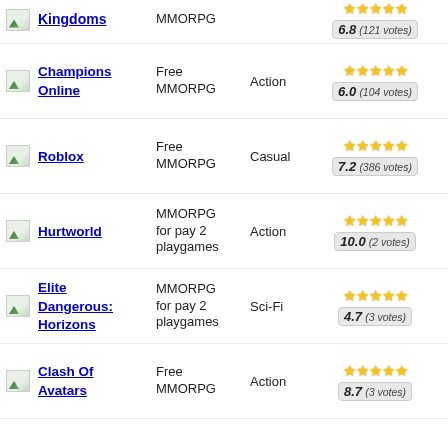Kingdoms | MMORPG | 6.8 (121 votes)
Champions Online | Free MMORPG | Action | 6.0 (104 votes)
Roblox | Free MMORPG | Casual | 7.2 (386 votes)
Hurtworld | MMORPG for pay 2 playgames | Action | 10.0 (2 votes)
Elite Dangerous: Horizons | MMORPG for pay 2 playgames | Sci-Fi | 4.7 (3 votes)
Clash Of Avatars | Free MMORPG | Action | 8.7 (3 votes)